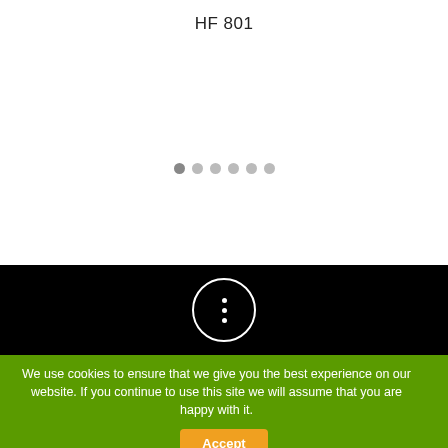HF 801
[Figure (other): Carousel navigation dots — six small circles indicating image slideshow position]
[Figure (other): Black bar with a white-bordered circle containing three vertical dots (more options / kebab menu icon)]
We use cookies to ensure that we give you the best experience on our website. If you continue to use this site we will assume that you are happy with it.
Accept